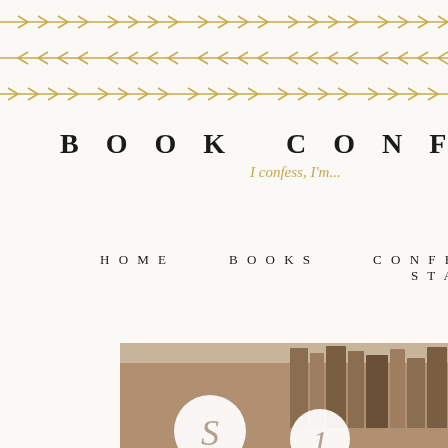[Figure (illustration): Three horizontal rows of gold arrow/chevron decorative dividers spanning the width of the page]
BOOK CONFESSIONS
I confess, I'm...
HOME   BOOKS   CONFESSIONS   START HERE
SUNDAY CONFESSIONS
[Figure (photo): Partial photo of stacked vintage books on a tan/beige background with partial white circle letter overlays at the bottom]